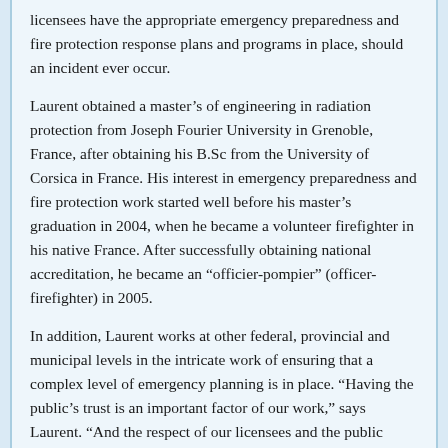licensees have the appropriate emergency preparedness and fire protection response plans and programs in place, should an incident ever occur.
Laurent obtained a master's of engineering in radiation protection from Joseph Fourier University in Grenoble, France, after obtaining his B.Sc from the University of Corsica in France. His interest in emergency preparedness and fire protection work started well before his master's graduation in 2004, when he became a volunteer firefighter in his native France. After successfully obtaining national accreditation, he became an “officier-pompier” (officer-firefighter) in 2005.
In addition, Laurent works at other federal, provincial and municipal levels in the intricate work of ensuring that a complex level of emergency planning is in place. “Having the public’s trust is an important factor of our work,” says Laurent. “And the respect of our licensees and the public contributes to ensuring strong emergency preparedness and